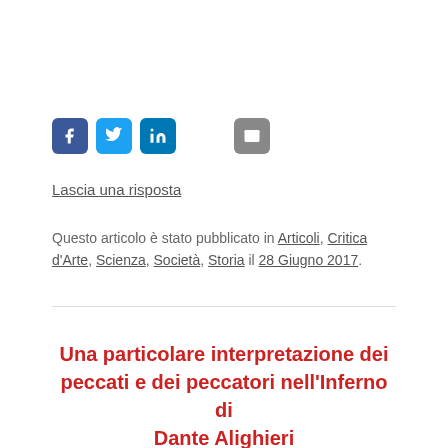[Figure (other): Social sharing icons: Facebook (blue), Twitter (light blue), LinkedIn (dark blue), and email (grey envelope)]
Lascia una risposta
Questo articolo è stato pubblicato in Articoli, Critica d'Arte, Scienza, Società, Storia il 28 Giugno 2017.
Una particolare interpretazione dei peccati e dei peccatori nell'Inferno di Dante Alighieri